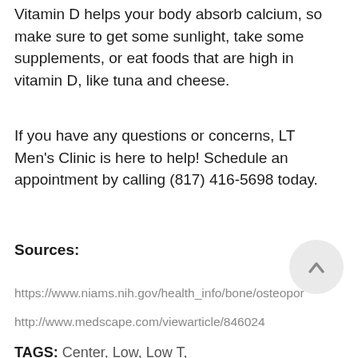Vitamin D helps your body absorb calcium, so make sure to get some sunlight, take some supplements, or eat foods that are high in vitamin D, like tuna and cheese.
If you have any questions or concerns, LT Men's Clinic is here to help! Schedule an appointment by calling (817) 416-5698 today.
Sources:
https://www.niams.nih.gov/health_info/bone/osteopor
http://www.medscape.com/viewarticle/846024
TAGS: Center, Low, Low T, osteoporosis, Testosterone